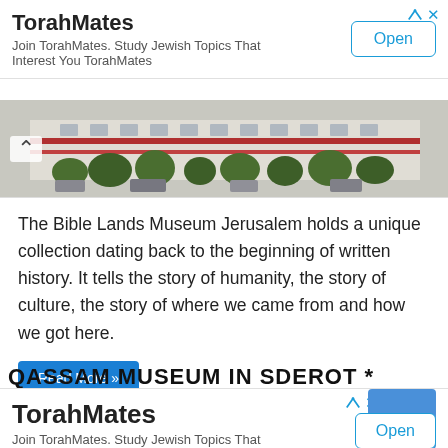TorahMates
Join TorahMates. Study Jewish Topics That Interest You TorahMates
[Figure (photo): Partial view of the Bible Lands Museum Jerusalem exterior building with trees and vehicles]
The Bible Lands Museum Jerusalem holds a unique collection dating back to the beginning of written history. It tells the story of humanity, the story of culture, the story of where we came from and how we got here.
Read More »
QASSAM MUSEUM IN SDEROT *
TorahMates
Join TorahMates. Study Jewish Topics That Interest You TorahMates